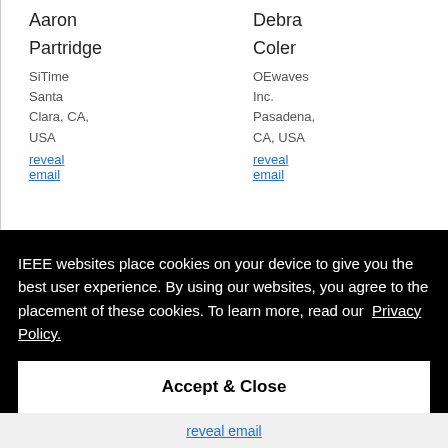Aaron
Partridge
SiTime Santa Clara, CA, USA
reveal email
Debra
Coler
OEwaves Inc. Pasadena, CA, USA
reveal email
IEEE websites place cookies on your device to give you the best user experience. By using our websites, you agree to the placement of these cookies. To learn more, read our Privacy Policy.
Accept & Close
reveal email